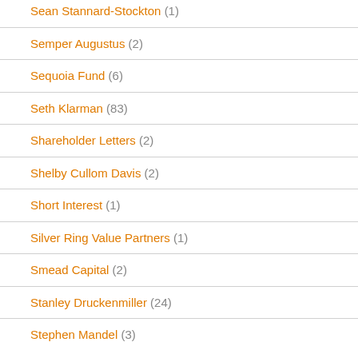Sean Stannard-Stockton (1)
Semper Augustus (2)
Sequoia Fund (6)
Seth Klarman (83)
Shareholder Letters (2)
Shelby Cullom Davis (2)
Short Interest (1)
Silver Ring Value Partners (1)
Smead Capital (2)
Stanley Druckenmiller (24)
Stephen Mandel (3)